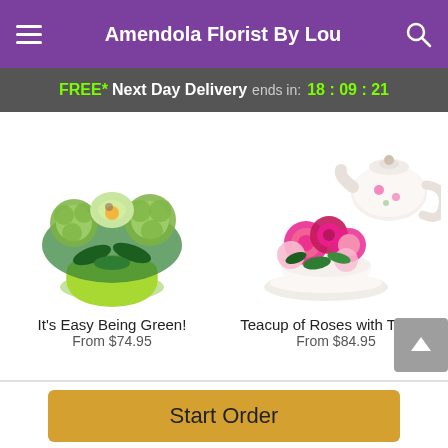Amendola Florist By Lou
FREE* Next Day Delivery ends in: 18:09:21
[Figure (photo): Green flower arrangement in a lime-green pot with orchids and green chrysanthemums]
It's Easy Being Green!
From $74.95
[Figure (photo): Pink roses in a floral teacup with matching teapot in the background]
Teacup of Roses with Teapot
From $84.95
Start Order